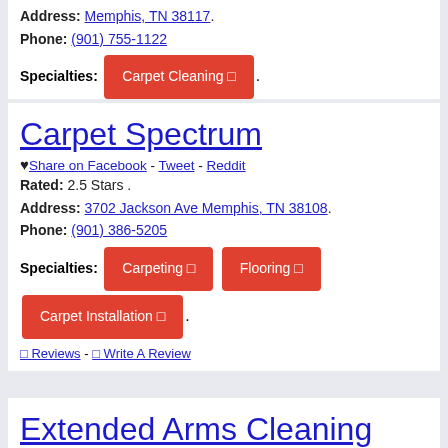Address: Memphis, TN 38117.
Phone: (901) 755-1122
Specialties: Carpet Cleaning
0 Reviews - 0 Write A Review
Carpet Spectrum
♥ Share on Facebook - Tweet - Reddit
Rated: 2.5 Stars .
Address: 3702 Jackson Ave Memphis, TN 38108.
Phone: (901) 386-5205
Specialties: Carpeting  Flooring  Carpet Installation
0 Reviews - 0 Write A Review
Extended Arms Cleaning